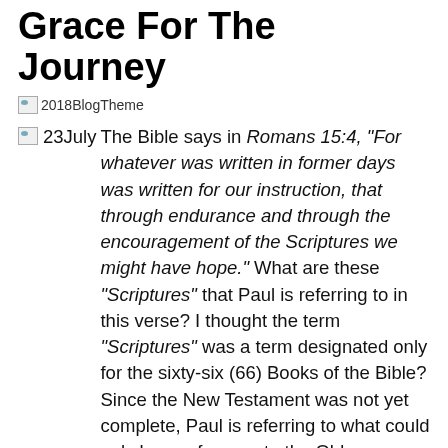Grace For The Journey
[Figure (photo): 2018BlogTheme image placeholder with label text]
23July  The Bible says in Romans 15:4, “For whatever was written in former days was written for our instruction, that through endurance and through the encouragement of the Scriptures we might have hope.”  What are these “Scriptures” that Paul is referring to in this verse?  I thought the term “Scriptures” was a term designated only for the sixty-six (66) Books of the Bible?  Since the New Testament was not yet complete, Paul is referring to what could only be a reference to the Old Testament when he calls them “Scriptures.”
This is important for us to consider because I fear that we are living in a time when so much emphasis is placed on the “New Testament” to the neglect of the